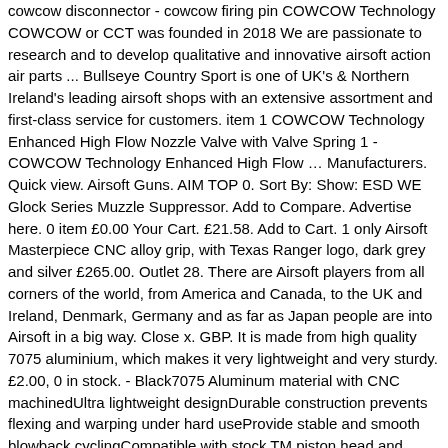cowcow disconnector - cowcow firing pin COWCOW Technology COWCOW or CCT was founded in 2018 We are passionate to research and to develop qualitative and innovative airsoft action air parts ... Bullseye Country Sport is one of UK's & Northern Ireland's leading airsoft shops with an extensive assortment and first-class service for customers. item 1 COWCOW Technology Enhanced High Flow Nozzle Valve with Valve Spring 1 - COWCOW Technology Enhanced High Flow … Manufacturers. Quick view. Airsoft Guns. AIM TOP 0. Sort By: Show: ESD WE Glock Series Muzzle Suppressor. Add to Compare. Advertise here. 0 item £0.00 Your Cart. £21.58. Add to Cart. 1 only Airsoft Masterpiece CNC alloy grip, with Texas Ranger logo, dark grey and silver £265.00. Outlet 28. There are Airsoft players from all corners of the world, from America and Canada, to the UK and Ireland, Denmark, Germany and as far as Japan people are into Airsoft in a big way. Close x. GBP. It is made from high quality 7075 aluminium, which makes it very lightweight and very sturdy. £2.00, 0 in stock. - Black7075 Aluminum material with CNC machinedUltra lightweight designDurable construction prevents flexing and warping under hard useProvide stable and smooth blowback cyclingCompatible with stock TM piston head and COWCOW piston head (CCT COWCOW Technology ("COWCOW" or "CCT") was founded in 2018. Airsoft Megastore